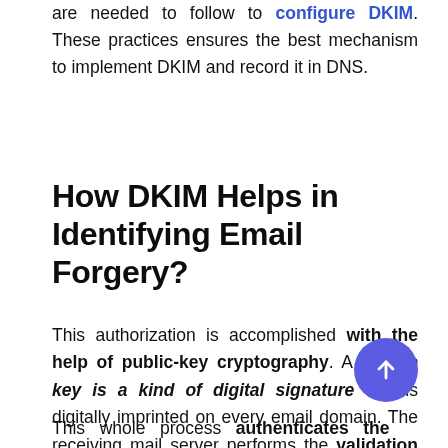are needed to follow to configure DKIM. These practices ensures the best mechanism to implement DKIM and record it in DNS.
How DKIM Helps in Identifying Email Forgery?
This authorization is accomplished with the help of public-key cryptography. A private key is a kind of digital signature that is digitally imprinted on every email domain. The receiving mail server performs the validation through the DNS which consists of a public key.
This whole process authenticates the